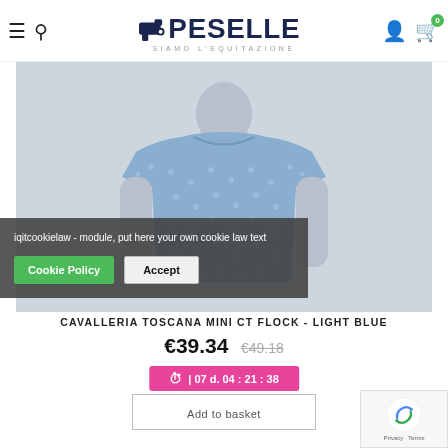PESELLE - SIAMO L'EQUITAZIONE
[Figure (photo): Mannequin wearing a light blue short-sleeve t-shirt with small white dot/flock pattern, displayed against a light grey background]
iqitcookielaw - module, put here your own cookie law text
Cookie Policy   Accept
CAVALLERIA TOSCANA MINI CT FLOCK - LIGHT BLUE
€39.34  €49.18
07 d. 04 : 21 : 38
Add to basket